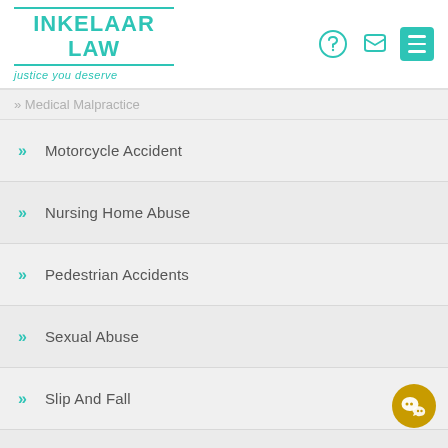[Figure (logo): Inkelaar Law logo with teal text and tagline 'justice you deserve']
Medical Malpractice (partial, cut off at top)
Motorcycle Accident
Nursing Home Abuse
Pedestrian Accidents
Sexual Abuse
Slip And Fall
Wrongful Death
Workers' Compensation